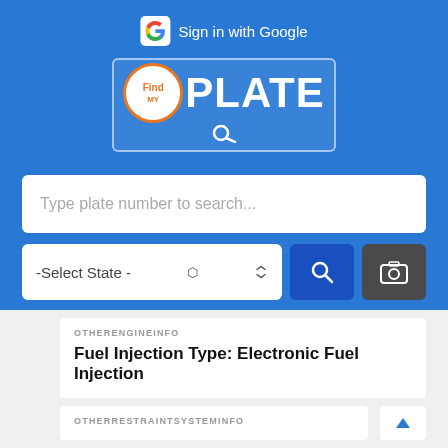[Figure (screenshot): FindPlate app screenshot showing blue header with Google sign-in, search bar for license plate, state selector dropdown, search and camera buttons, and vehicle info cards showing engine and restraint system info]
Sign in with Google
[Figure (logo): FindPLATE logo with orange circle containing magnifying glass and 'Find' text, followed by PLATE in white text]
Type plate number to search...
-Select State -
OTHERENGINEINFO
Fuel Injection Type: Electronic Fuel Injection
OTHERRESTRAINTSYSTEMINFO